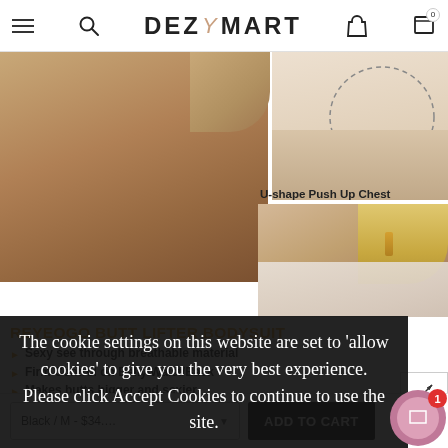DEZMART navigation bar with hamburger menu, search, logo, user account, and cart icons
[Figure (photo): Product photo showing a woman's lower body wearing a butt lifter bodysuit, left side; right side shows a partial back/neck shot of a blonde woman wearing a light-colored bodysuit]
U-shape Push Up Chest
REYEOGO BUTT LIFTER BODYSUIT
Sexy see through breathable material
Firm Control on Belly/Waist/Back
Makes butts bigger and sexier
U-shaped design push up breast
The cookie settings on this website are set to 'allow cookies' to give you the very best experience. Please click Accept Cookies to continue to use the site.
PRIVACY POLICY   ACCEPT ✓
Black / M - $34....   ADD TO CART